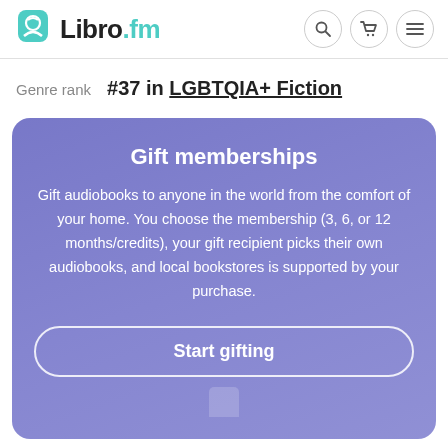Libro.fm
Genre rank  #37 in LGBTQIA+ Fiction
Gift memberships
Gift audiobooks to anyone in the world from the comfort of your home. You choose the membership (3, 6, or 12 months/credits), your gift recipient picks their own audiobooks, and local bookstores is supported by your purchase.
Start gifting